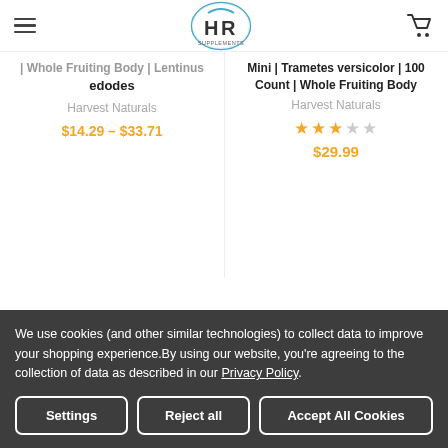HR Supplements
| Whole Fruiting Body | Lentinus edodes — Harvest Naturals — $14.29 - $33.71
Mini | Trametes versicolor | 100 Count | Whole Fruiting Body — Harvest Naturals — ★★★☆☆ — $29.99
We use cookies (and other similar technologies) to collect data to improve your shopping experience.By using our website, you're agreeing to the collection of data as described in our Privacy Policy.
Settings | Reject all | Accept All Cookies